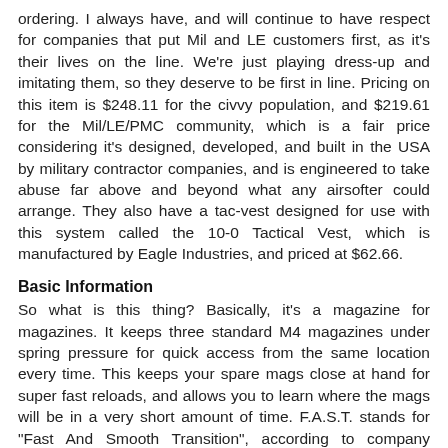ordering. I always have, and will continue to have respect for companies that put Mil and LE customers first, as it's their lives on the line. We're just playing dress-up and imitating them, so they deserve to be first in line. Pricing on this item is $248.11 for the civvy population, and $219.61 for the Mil/LE/PMC community, which is a fair price considering it's designed, developed, and built in the USA by military contractor companies, and is engineered to take abuse far above and beyond what any airsofter could arrange. They also have a tac-vest designed for use with this system called the 10-0 Tactical Vest, which is manufactured by Eagle Industries, and priced at $62.66.
Basic Information
So what is this thing? Basically, it's a magazine for magazines. It keeps three standard M4 magazines under spring pressure for quick access from the same location every time. This keeps your spare mags close at hand for super fast reloads, and allows you to learn where the mags will be in a very short amount of time. F.A.S.T. stands for "Fast And Smooth Transition", according to company literature. For those of you who use something other than an